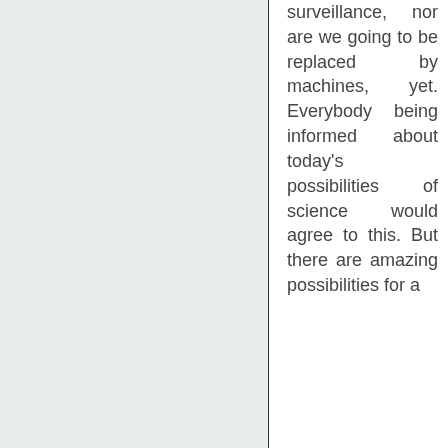surveillance, nor are we going to be replaced by machines, yet. Everybody being informed about today's possibilities of science would agree to this. But there are amazing possibilities for a